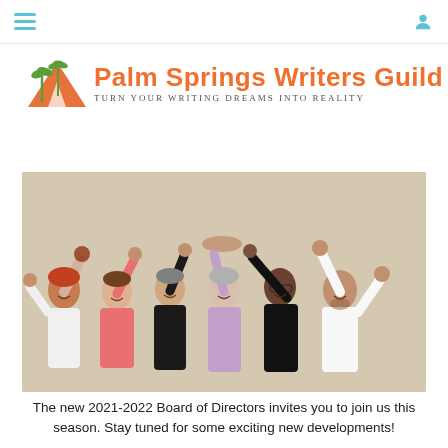Palm Springs Writers Guild — Turn Your Writing Dreams Into Reality
[Figure (logo): Palm Springs Writers Guild logo with orange palm trees and mountain icon, orange title text and grey tagline 'Turn Your Writing Dreams Into Reality']
[Figure (photo): Group photo of six people standing together with arms raised and hands joined, smiling, against a beige wall. The new 2021-2022 Board of Directors.]
The new 2021-2022 Board of Directors invites you to join us this season. Stay tuned for some exciting new developments!